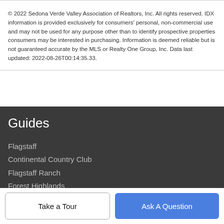© 2022 Sedona Verde Valley Association of Realtors, Inc. All rights reserved. IDX information is provided exclusively for consumers' personal, non-commercial use and may not be used for any purpose other than to identify prospective properties consumers may be interested in purchasing. Information is deemed reliable but is not guaranteed accurate by the MLS or Realty One Group, Inc. Data last updated: 2022-08-26T00:14:35.33.
Guides
Flagstaff
Continental Country Club
Flagstaff Ranch
Forest Highlands
Munds Park